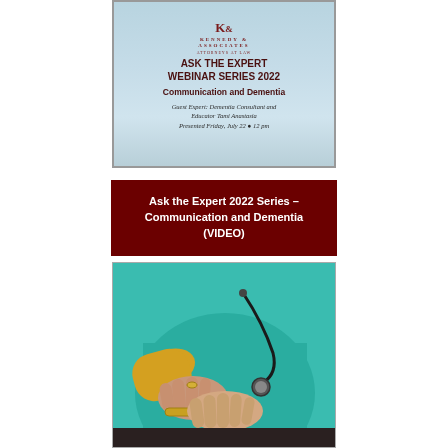[Figure (photo): Webinar promotional card for Kennedy & Associates Attorneys at Law – Ask the Expert Webinar Series 2022, Communication and Dementia. Guest Expert: Dementia Consultant and Educator Tami Anastasia. Presented Friday, July 22 at 12 pm.]
Ask the Expert 2022 Series – Communication and Dementia (VIDEO)
[Figure (photo): Close-up photo of a healthcare professional in teal scrubs with a stethoscope holding the hands of an elderly patient.]